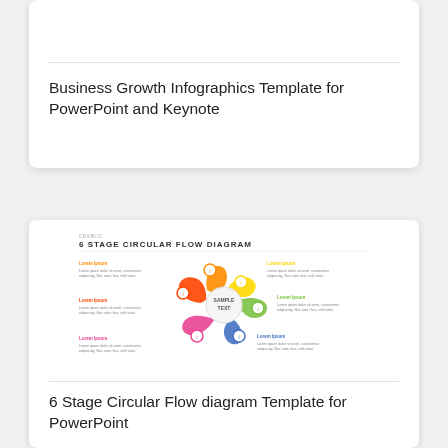Business Growth Infographics Template for PowerPoint and Keynote
[Figure (infographic): 6 Stage Circular Flow Diagram infographic template showing a star/pinwheel shape with 6 colored arrows (yellow, green, blue, pink/magenta, red/orange, orange) arranged in a circular flow. Each arrow has a small icon and is accompanied by sample text labels radiating outward. Center reads 'SAMPLE TEXT'.]
6 Stage Circular Flow diagram Template for PowerPoint